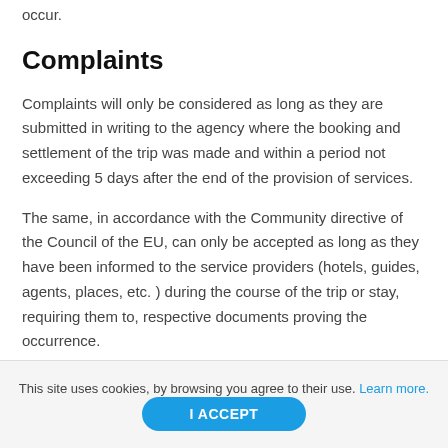occur.
Complaints
Complaints will only be considered as long as they are submitted in writing to the agency where the booking and settlement of the trip was made and within a period not exceeding 5 days after the end of the provision of services.
The same, in accordance with the Community directive of the Council of the EU, can only be accepted as long as they have been informed to the service providers (hotels, guides, agents, places, etc. ) during the course of the trip or stay, requiring them to, respective documents proving the occurrence.
This site uses cookies, by browsing you agree to their use. Learn more.